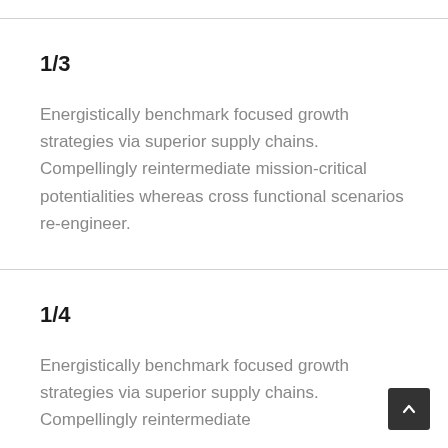1/3
Energistically benchmark focused growth strategies via superior supply chains. Compellingly reintermediate mission-critical potentialities whereas cross functional scenarios re-engineer.
1/4
Energistically benchmark focused growth strategies via superior supply chains. Compellingly reintermediate